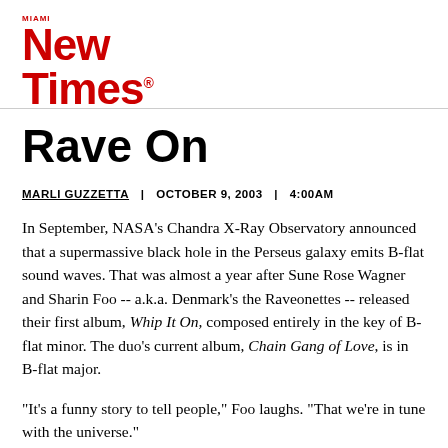Miami New Times
Rave On
MARLI GUZZETTA | OCTOBER 9, 2003 | 4:00AM
In September, NASA's Chandra X-Ray Observatory announced that a supermassive black hole in the Perseus galaxy emits B-flat sound waves. That was almost a year after Sune Rose Wagner and Sharin Foo -- a.k.a. Denmark's the Raveonettes -- released their first album, Whip It On, composed entirely in the key of B-flat minor. The duo's current album, Chain Gang of Love, is in B-flat major.
"It's a funny story to tell people," Foo laughs. "That we're in tune with the universe."